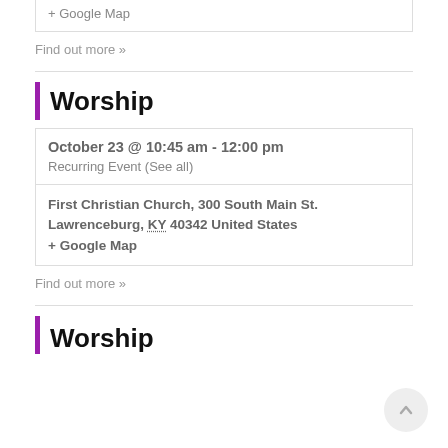+ Google Map
Find out more »
Worship
October 23 @ 10:45 am - 12:00 pm
Recurring Event (See all)
First Christian Church, 300 South Main St. Lawrenceburg, KY 40342 United States
+ Google Map
Find out more »
Worship